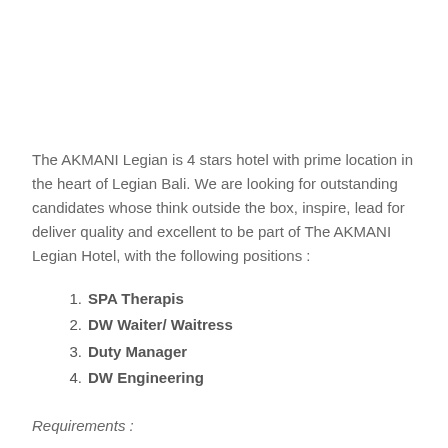The AKMANI Legian is 4 stars hotel with prime location in the heart of Legian Bali. We are looking for outstanding candidates whose think outside the box, inspire, lead for deliver quality and excellent to be part of The AKMANI Legian Hotel, with the following positions :
1. SPA Therapis
2. DW Waiter/ Waitress
3. Duty Manager
4. DW Engineering
Requirements :